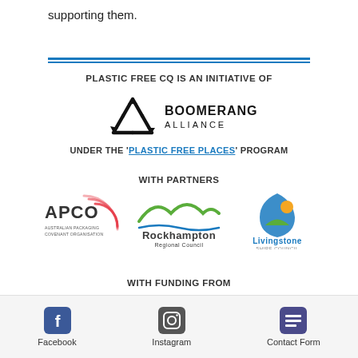supporting them.
[Figure (illustration): Horizontal double-line divider in blue]
PLASTIC FREE CQ IS AN INITIATIVE OF
[Figure (logo): Boomerang Alliance logo — triangle recycle symbol with BOOMERANG ALLIANCE text]
UNDER THE 'PLASTIC FREE PLACES' PROGRAM
WITH PARTNERS
[Figure (logo): Three partner logos: APCO (Australian Packaging Covenant Organisation), Rockhampton Regional Council, Livingstone Shire Council]
WITH FUNDING FROM
Facebook  Instagram  Contact Form